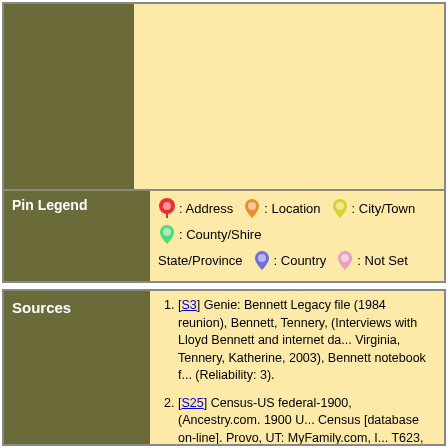[Figure (map): Map area with olive/dark left panel and light yellow right panel, partially visible]
Pin Legend  : Address  : Location  : City/Town  : County/Shire  State/Province  : Country  : Not Set
Sources
[S3] Genie: Bennett Legacy file (1984 reunion), Bennett, Tennery, (Interviews with Lloyd Bennett and internet da... Virginia, Tennery, Katherine, 2003), Bennett notebook f... (Reliability: 3).
[S25] Census-US federal-1900, (Ancestry.com. 1900 U... Census [database on-line]. Provo, UT: MyFamily.com, I... T623, 1854 rolls.), Police Jury Ward 7, Plaquemines, L... T623 577; Page: 31B; ED 43 (Reliability: 3).
[S84] Genie: Wallace, Carmen (Dobards of Jesuit Bend... Carmen, (New Orleans, photocopies of research, photo... certificates, about 2003;) (Reliability: 1).
[S102] World War I 1917-1918 Draft Registration Cards... (ancestry.com), Selective Service System, (Ancestry.c...